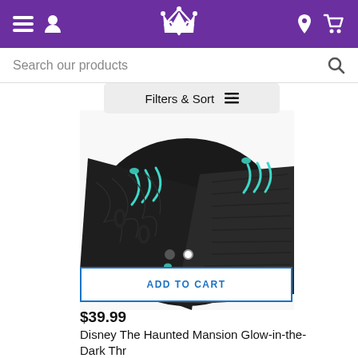Navigation bar with menu, account, crown logo, location, and cart icons
Search our products
Filters & Sort
[Figure (photo): Close-up photo of a black quilted fabric item with teal/turquoise claw-like accents and sherpa lining, showing detail of the Haunted Mansion themed throw blanket]
ADD TO CART
$39.99
Disney The Haunted Mansion Glow-in-the-Dark Thr